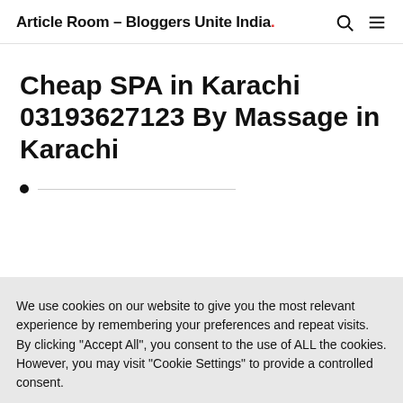Article Room – Bloggers Unite India.
Cheap SPA in Karachi 03193627123 By Massage in Karachi
We use cookies on our website to give you the most relevant experience by remembering your preferences and repeat visits. By clicking "Accept All", you consent to the use of ALL the cookies. However, you may visit "Cookie Settings" to provide a controlled consent.